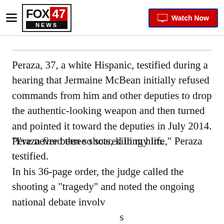FOX 47 NEWS — Watch Now
Peraza, 37, a white Hispanic, testified during a hearing that Jermaine McBean initially refused commands from him and other deputies to drop the authentic-looking weapon and then turned and pointed it toward the deputies in July 2014. Peraza fired three shots, killing him.
"I've never been so scared in my life," Peraza testified.
In his 36-page order, the judge called the shooting a "tragedy" and noted the ongoing national debate involving people and the hostility and threats sometimes directed